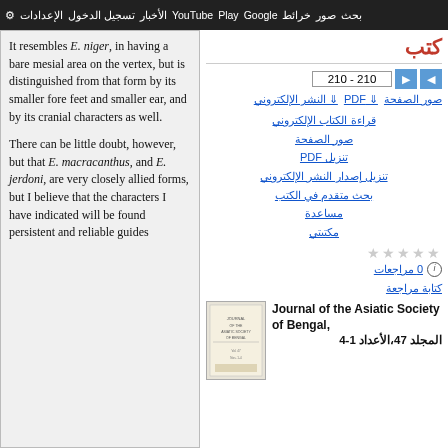بحث صور خرائط Google Play YouTube الأخبار تسجيل الدخول الإعدادات
كتب
210 - 210
صور الصفحة  PDF ↓  النشر الإلكتروني ↓
It resembles E. niger, in having a bare mesial area on the vertex, but is distinguished from that form by its smaller fore feet and smaller ear, and by its cranial characters as well.

There can be little doubt, however, but that E. macracanthus, and E. jerdoni, are very closely allied forms, but I believe that the characters I have indicated will be found persistent and reliable guides
قراءة الكتاب الإلكتروني
صور الصفحة
تنزيل PDF
تنزيل إصدار النشر الإلكتروني
بحث متقدم في الكتب
مساعدة
مكتبتي
0 مراجعات
كتابة مراجعة
[Figure (illustration): Book cover thumbnail for Journal of the Asiatic Society of Bengal]
Journal of the Asiatic Society of Bengal, 4-1 الأعداد ,47 المجلد